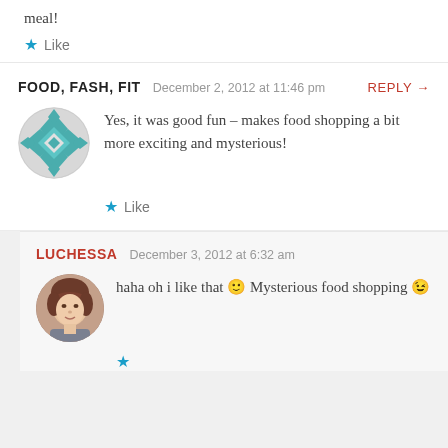meal!
Like
FOOD, FASH, FIT   December 2, 2012 at 11:46 pm   REPLY →
Yes, it was good fun – makes food shopping a bit more exciting and mysterious!
Like
LUCHESSA   December 3, 2012 at 6:32 am
haha oh i like that 🙂 Mysterious food shopping 😉